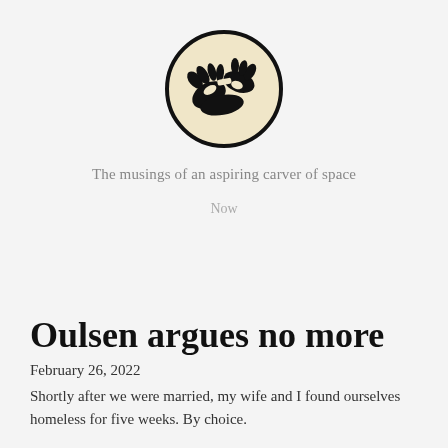[Figure (logo): Circular logo with cream/beige background showing a black illustration of hands carving or working, with bold black circular border]
The musings of an aspiring carver of space
Now
Oulsen argues no more
February 26, 2022
Shortly after we were married, my wife and I found ourselves homeless for five weeks. By choice.